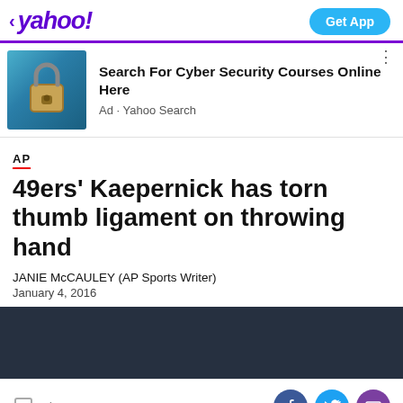< yahoo!   Get App
[Figure (photo): Padlock on keyboard, cybersecurity concept image]
Search For Cyber Security Courses Online Here
Ad • Yahoo Search
AP
49ers' Kaepernick has torn thumb ligament on throwing hand
JANIE McCAULEY (AP Sports Writer)
January 4, 2016
[Figure (photo): Dark background image/video placeholder]
View comments